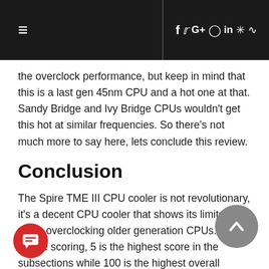≡  [navigation icons: facebook, twitter, google+, instagram, linkedin, steam, rss]
the overclock performance, but keep in mind that this is a last gen 45nm CPU and a hot one at that. Sandy Bridge and Ivy Bridge CPUs wouldn't get this hot at similar frequencies. So there's not much more to say here, lets conclude this review.
Conclusion
The Spire TME III CPU cooler is not revolutionary, it's a decent CPU cooler that shows its limits when overclocking older generation CPUs. Now for the scoring, 5 is the highest score in the subsections while 100 is the highest overall score.
Appearance: Spire tried to change things up a bit, using darker nickel plating on the TME III. As a result it looks quite nice. 4.5/5
Construction: The mounting system is simple and solid, while the fan mounting system is a bit awkward and leaves for little customization, but gets...